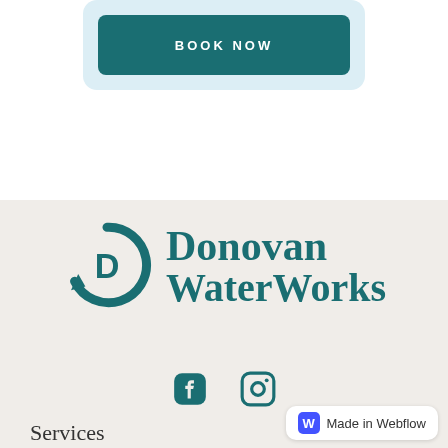[Figure (other): Book Now button on a light blue card background]
[Figure (logo): Donovan WaterWorks logo with teal circular D icon and company name]
[Figure (other): Facebook and Instagram social media icons in teal]
Services
Co
[Figure (other): Made in Webflow badge]